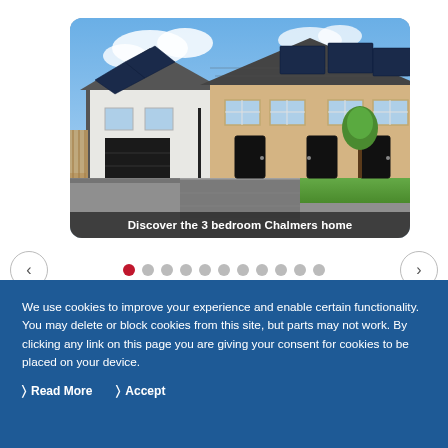[Figure (photo): Photo of modern UK semi-detached homes: white render and brick construction with solar panels on the roof, black garage door, black front doors, small trees, paved driveway. Caption overlay reads 'Discover the 3 bedroom Chalmers home'.]
Discover the 3 bedroom Chalmers home
We use cookies to improve your experience and enable certain functionality. You may delete or block cookies from this site, but parts may not work. By clicking any link on this page you are giving your consent for cookies to be placed on your device.
Read More   Accept